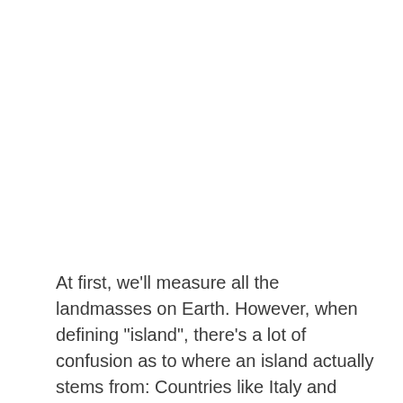At first, we'll measure all the landmasses on Earth. However, when defining "island", there's a lot of confusion as to where an island actually stems from: Countries like Italy and Japan use submerged reefs that are supposed to be islands for their main country borders.
Many others take different interpretations based on various legends or early maps. In total Asia has over 1